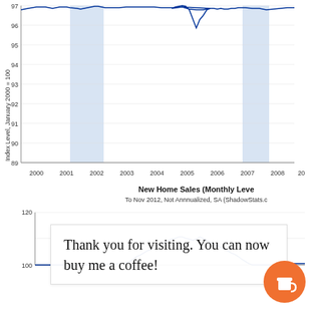[Figure (continuous-plot): Top portion of a line chart showing an index level (January 2000 = 100) from 2000 to 2008+. Y-axis ranges from 89 to 97+. Two blue shaded recession bands visible around 2001 and 2008. Blue line fluctuates near 97-98 range with a notable dip to ~95.7 around 2005-2006.]
[Figure (continuous-plot): Bottom portion showing 'New Home Sales (Monthly Level), To Nov 2012, Not Annualized, SA (ShadowStats.com)'. Y-axis from ~100 to 120. Blue line chart showing new home sales data with peaks around 2005 and declining trend.]
Thank you for visiting. You can now buy me a coffee!